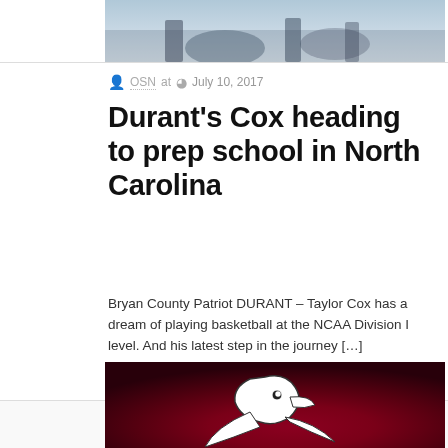[Figure (photo): Top portion of a sports/basketball action photo, partially visible]
OSN at  July 10, 2017
Durant's Cox heading to prep school in North Carolina
Bryan County Patriot DURANT – Taylor Cox has a dream of playing basketball at the NCAA Division I level. And his latest step in the journey […]
0  Read more
[Figure (logo): Dark maroon/crimson background with a white and dark bird/eagle mascot logo]